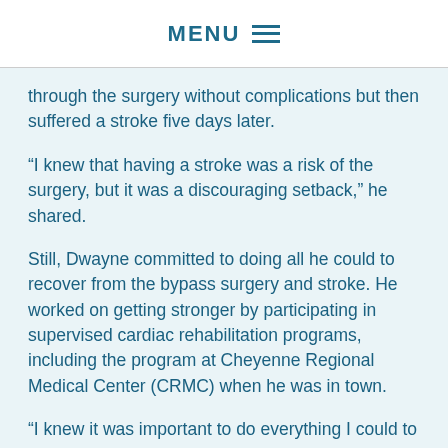MENU
through the surgery without complications but then suffered a stroke five days later.
“I knew that having a stroke was a risk of the surgery, but it was a discouraging setback,” he shared.
Still, Dwayne committed to doing all he could to recover from the bypass surgery and stroke. He worked on getting stronger by participating in supervised cardiac rehabilitation programs, including the program at Cheyenne Regional Medical Center (CRMC) when he was in town.
“I knew it was important to do everything I could to try to make by heart and body stronger,” he said.
Later that year an Implantable Cardioverter Defibrillator